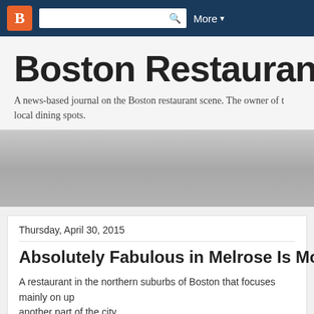[Figure (screenshot): Blogger navigation bar with orange blogger icon, search bar with magnifying glass icon, and 'More' dropdown button on dark navy background]
Boston Restaurant Talk
A news-based journal on the Boston restaurant scene. The owner of this blog covers local dining spots.
[Figure (other): Gray gradient advertisement banner area]
Thursday, April 30, 2015
Absolutely Fabulous in Melrose Is Moving
A restaurant in the northern suburbs of Boston that focuses mainly on upscale dining is moving to another part of the city.
According to an article in the Melrose Free Press, Absolutely Fabulous has moved to a new Street in the downtown section of the city, with the plan being to possibly